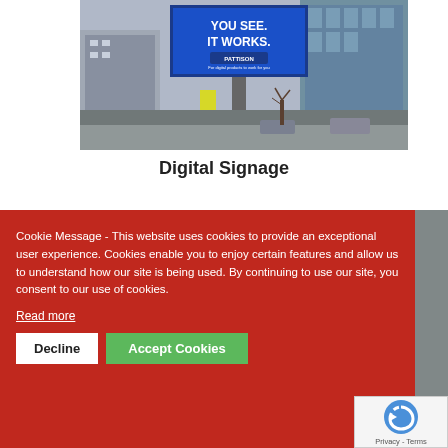[Figure (photo): Outdoor digital billboard sign reading 'YOU SEE. IT WORKS.' with PATTISON branding, urban street scene with office buildings in background]
Digital Signage
[Figure (photo): Partial photo of dark circular device visible behind red cookie consent overlay]
Cookie Message - This website uses cookies to provide an exceptional user experience. Cookies enable you to enjoy certain features and allow us to understand how our site is being used. By continuing to use our site, you consent to our use of cookies.
Read more
Decline
Accept Cookies